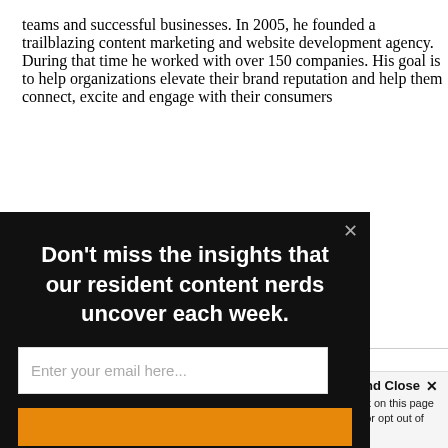teams and successful businesses. In 2005, he founded a trailblazing content marketing and website development agency. During that time he worked with over 150 companies. His goal is to help organizations elevate their brand reputation and help them connect, excite and engage with their consumers
[Figure (screenshot): Modal popup with dark background. Close X button top right. Heading: Don't miss the insights that our resident content nerds uncover each week. Email input field with placeholder 'Enter your email here...' and an orange subscribe button below.]
TS
Accept and Close ✕
Your browser settings do not allow cross-site tracking for advertising. Click on this page to allow AdRoll to use cross-site tracking to tailor ads to you. Learn more or opt out of this AdRoll tracking by clicking here. This message only appears once.